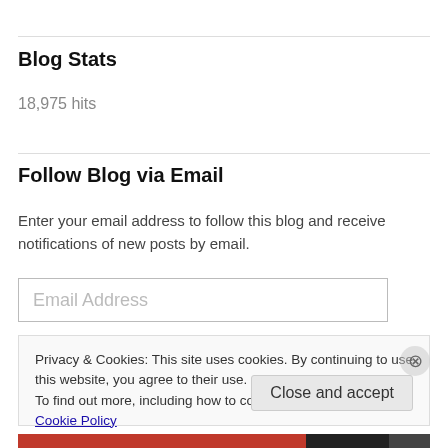Blog Stats
18,975 hits
Follow Blog via Email
Enter your email address to follow this blog and receive notifications of new posts by email.
Email Address
Privacy & Cookies: This site uses cookies. By continuing to use this website, you agree to their use.
To find out more, including how to control cookies, see here: Cookie Policy
Close and accept